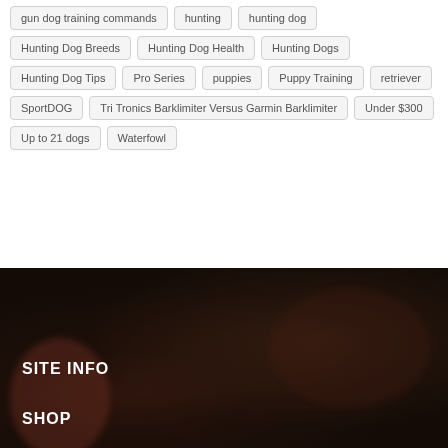gun dog training commands
hunting
hunting dog
Hunting Dog Breeds
Hunting Dog Health
Hunting Dogs
Hunting Dog Tips
Pro Series
puppies
Puppy Training
retriever
SportDOG
Tri Tronics Barklimiter Versus Garmin Barklimiter
Under $300
Up to 21 dogs
Waterfowl
[Figure (photo): Dark blurred background image with warm reddish-brown tones]
SITE INFO
SHOP